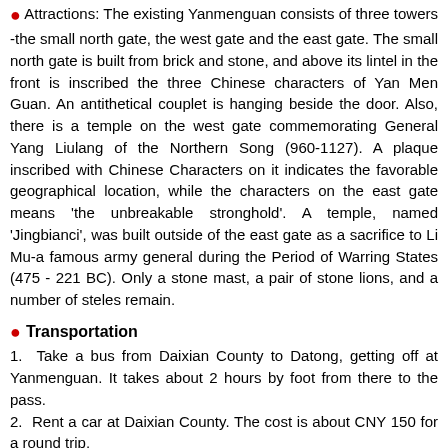Attractions: The existing Yanmenguan consists of three towers -the small north gate, the west gate and the east gate. The small north gate is built from brick and stone, and above its lintel in the front is inscribed the three Chinese characters of Yan Men Guan. An antithetical couplet is hanging beside the door. Also, there is a temple on the west gate commemorating General Yang Liulang of the Northern Song (960-1127). A plaque inscribed with Chinese Characters on it indicates the favorable geographical location, while the characters on the east gate means 'the unbreakable stronghold'. A temple, named 'Jingbianci', was built outside of the east gate as a sacrifice to Li Mu-a famous army general during the Period of Warring States (475 - 221 BC). Only a stone mast, a pair of stone lions, and a number of steles remain.
Transportation
1.  Take a bus from Daixian County to Datong, getting off at Yanmenguan. It takes about 2 hours by foot from there to the pass.
2.  Rent a car at Daixian County. The cost is about CNY 150 for a round trip.
3.  Rent a car at the new Guangwu Town (also called Xinguangwu Town, the cost for the round trip is about CNY 50. Travelers can also visit the ancient Guangwu Town on the way.
Travel Tips